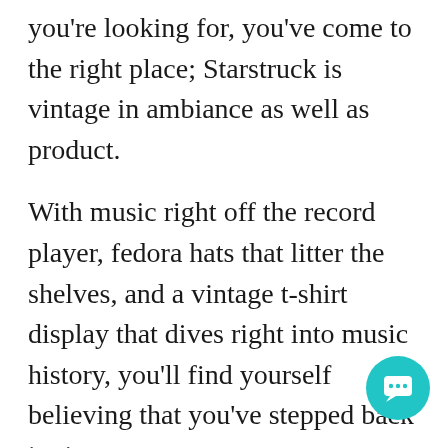you're looking for, you've come to the right place; Starstruck is vintage in ambiance as well as product.
With music right off the record player, fedora hats that litter the shelves, and a vintage t-shirt display that dives right into music history, you'll find yourself believing that you've stepped back in time.
From fur coats and cocktail dresses to leather jackets and western wear no matter the occasion you're